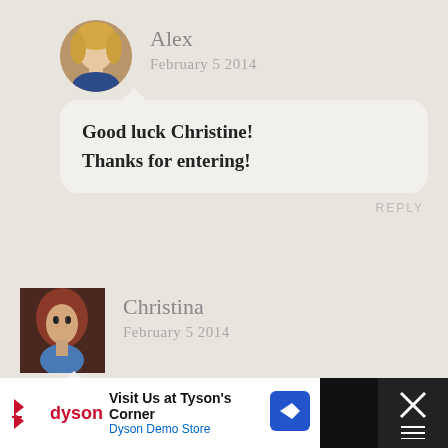Alex
February 5 2014
Good luck Christine! Thanks for entering!
REPLY
[Figure (photo): Avatar photo of Alex, a woman with blonde hair]
Christina
February 5 2014
[Figure (illustration): Avatar artwork of Christina, a stylized portrait painting]
I definitely understand the packing panic.:) I have a little “medicine cabinet bag” I bring along. Not that I can’t buy basic
Visit Us at Tyson's Corner Dyson Demo Store